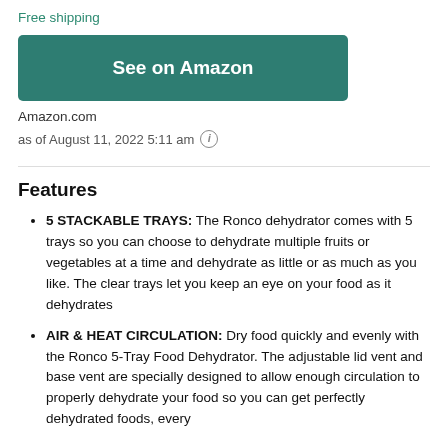Free shipping
[Figure (other): Green 'See on Amazon' button]
Amazon.com
as of August 11, 2022 5:11 am ⓘ
Features
5 STACKABLE TRAYS: The Ronco dehydrator comes with 5 trays so you can choose to dehydrate multiple fruits or vegetables at a time and dehydrate as little or as much as you like. The clear trays let you keep an eye on your food as it dehydrates
AIR & HEAT CIRCULATION: Dry food quickly and evenly with the Ronco 5-Tray Food Dehydrator. The adjustable lid vent and base vent are specially designed to allow enough circulation to properly dehydrate your food so you can get perfectly dehydrated foods, every